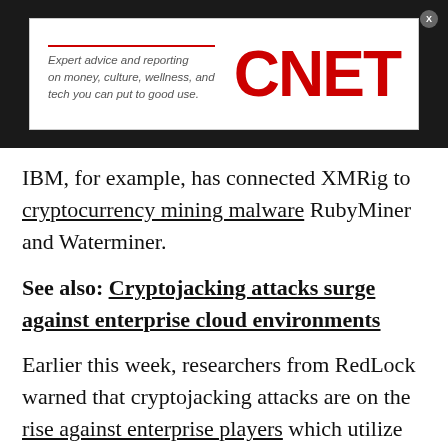[Figure (logo): CNET advertisement banner on dark background. Ad contains italic text: 'Expert advice and reporting on money, culture, wellness, and tech you can put to good use.' alongside the red CNET logo in bold large font.]
IBM, for example, has connected XMRig to cryptocurrency mining malware RubyMiner and Waterminer.
See also: Cryptojacking attacks surge against enterprise cloud environments
Earlier this week, researchers from RedLock warned that cryptojacking attacks are on the rise against enterprise players which utilize cloud environments.
Up to 25 percent of organizations are thought to have experienced cryptojacking activity within their